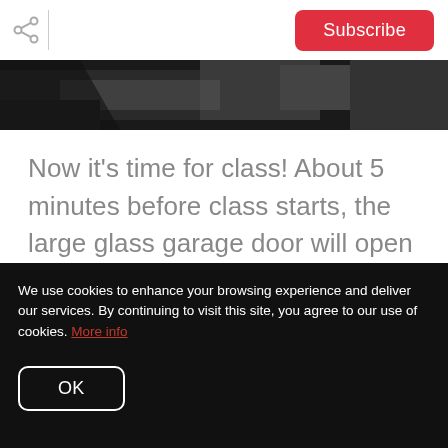Subscribe
[Figure (photo): Dark background photo showing partial view of interior, likely a fitness studio with dark flooring]
Now it's time for class! About 5 minutes before class starts, the large glass garage door will open to start checking you into class.
We use cookies to enhance your browsing experience and deliver our services. By continuing to visit this site, you agree to our use of cookies. More info
OK